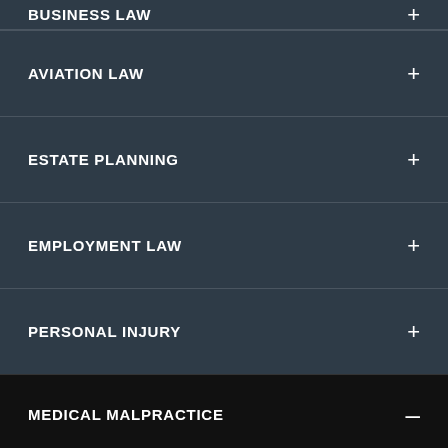BUSINESS LAW
AVIATION LAW
ESTATE PLANNING
EMPLOYMENT LAW
PERSONAL INJURY
MEDICAL MALPRACTICE
Nursing Home Negligence